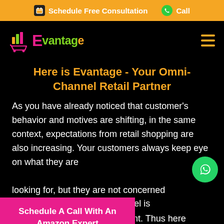Schedule Free Consultation   Call
[Figure (logo): Evantage logo with shopping cart icon and bar chart, text reads Evantage in pink and green]
Here is Evantage - Your Omni-Channel Retail Partner
As you have already noticed that customer's behavior and motives are shifting, in the same context, expectations from retail shopping are also increasing. Your customers always keep eye on what they are looking for, but they are not concerned about the channel is increasingly becoming irrelevant. Thus here
[Figure (logo): WhatsApp green circular button]
Schedule A Call With An Amazon Expert